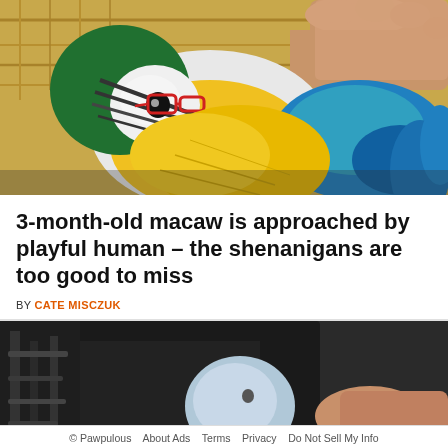[Figure (photo): Close-up photo of a blue-and-yellow macaw parrot wearing tiny red glasses, lying in a wicker basket with bright yellow and blue feathers visible, and a human hand petting it from above]
3-month-old macaw is approached by playful human – the shenanigans are too good to miss
BY CATE MISCZUK
[Figure (photo): Partial photo showing a person in dark clothing holding or interacting with what appears to be a bird or animal toy in a dim indoor setting]
© Pawpulous   About Ads   Terms   Privacy   Do Not Sell My Info